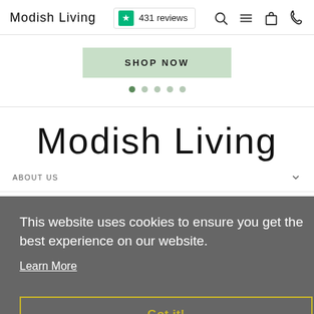Modish Living  ★ 431 reviews
[Figure (screenshot): Shop Now button with light green background and carousel dots below]
[Figure (logo): Modish Living large brand logo in decorative font]
ABOUT US
CUSTOMER SERVICE
This website uses cookies to ensure you get the best experience on our website.
Learn More
Got it!
SIGN UP AND SAVE